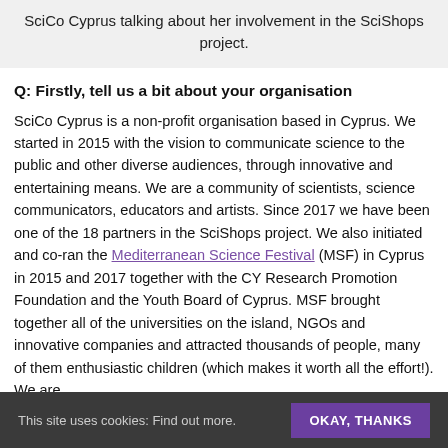SciCo Cyprus talking about her involvement in the SciShops project.
Q: Firstly, tell us a bit about your organisation
SciCo Cyprus is a non-profit organisation based in Cyprus. We started in 2015 with the vision to communicate science to the public and other diverse audiences, through innovative and entertaining means. We are a community of scientists, science communicators, educators and artists. Since 2017 we have been one of the 18 partners in the SciShops project. We also initiated and co-ran the Mediterranean Science Festival (MSF) in Cyprus in 2015 and 2017 together with the CY Research Promotion Foundation and the Youth Board of Cyprus. MSF brought together all of the universities on the island, NGOs and innovative companies and attracted thousands of people, many of them enthusiastic children (which makes it worth all the effort!). We are
This site uses cookies: Find out more.   OKAY, THANKS